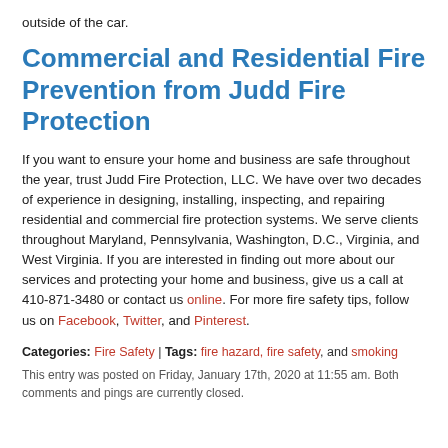outside of the car.
Commercial and Residential Fire Prevention from Judd Fire Protection
If you want to ensure your home and business are safe throughout the year, trust Judd Fire Protection, LLC. We have over two decades of experience in designing, installing, inspecting, and repairing residential and commercial fire protection systems. We serve clients throughout Maryland, Pennsylvania, Washington, D.C., Virginia, and West Virginia. If you are interested in finding out more about our services and protecting your home and business, give us a call at 410-871-3480 or contact us online. For more fire safety tips, follow us on Facebook, Twitter, and Pinterest.
Categories: Fire Safety | Tags: fire hazard, fire safety, and smoking
This entry was posted on Friday, January 17th, 2020 at 11:55 am. Both comments and pings are currently closed.